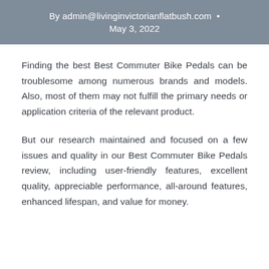By admin@livinginvictorianflatbush.com · May 3, 2022
Finding the best Best Commuter Bike Pedals can be troublesome among numerous brands and models. Also, most of them may not fulfill the primary needs or application criteria of the relevant product.
But our research maintained and focused on a few issues and quality in our Best Commuter Bike Pedals review, including user-friendly features, excellent quality, appreciable performance, all-around features, enhanced lifespan, and value for money.